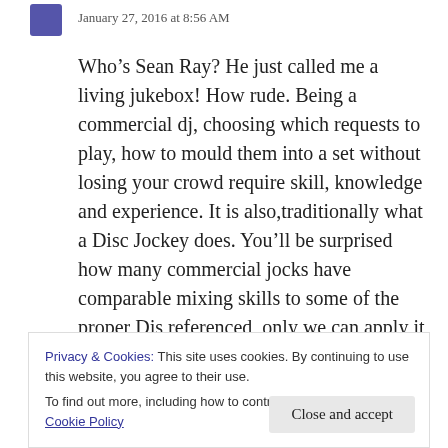January 27, 2016 at 8:56 AM
Who’s Sean Ray? He just called me a living jukebox! How rude. Being a commercial dj, choosing which requests to play, how to mould them into a set without losing your crowd require skill, knowledge and experience. It is also,traditionally what a Disc Jockey does. You’ll be surprised how many commercial jocks have comparable mixing skills to some of the proper Djs referenced, only we can apply it over a wider range of styles, genres and tempos as required. Generally then, a pointless, narrow-minded article, creating negative stereotypes
Privacy & Cookies: This site uses cookies. By continuing to use this website, you agree to their use.
To find out more, including how to control cookies, see here: Cookie Policy
Close and accept